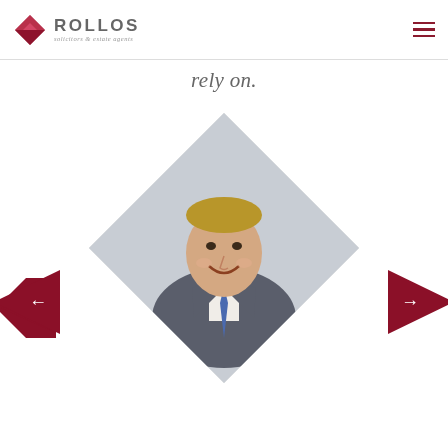[Figure (logo): Rollos solicitors & estate agents logo with dark red diamond shape and grey text]
rely on.
[Figure (photo): Diamond-shaped portrait photo of a middle-aged man in a grey suit with blue tie, smiling, on a light grey background. Left and right dark red diamond arrow navigation buttons on either side.]